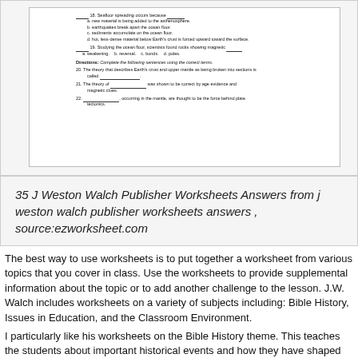[Figure (screenshot): A scanned worksheet page with an 'Assessment' tab on the left side. Questions 18-22 visible: multiple choice and fill-in-the-blank questions about seafloor spreading, ocean floor rocks with magnetic properties, plate tectonics theory, continental drift theory evidence, and convection currents.]
35 J Weston Walch Publisher Worksheets Answers from j weston walch publisher worksheets answers , source:ezworksheet.com
The best way to use worksheets is to put together a worksheet from various topics that you cover in class. Use the worksheets to provide supplemental information about the topic or to add another challenge to the lesson. J.W. Walch includes worksheets on a variety of subjects including: Bible History, Issues in Education, and the Classroom Environment.
I particularly like his worksheets on the Bible History theme. This teaches the students about important historical events and how they have shaped our modern society. One section of this